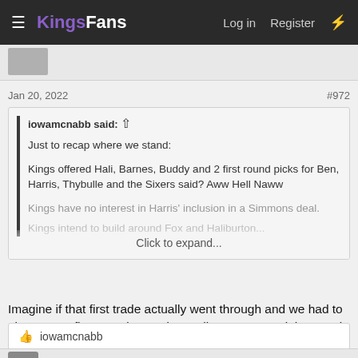KingsFans — Log in  Register
Jan 20, 2022	#972
iowamcnabb said: ↑

Just to recap where we stand:

Kings offered Hali, Barnes, Buddy and 2 first round picks for Ben, Harris, Thybulle and the Sixers said? Aww Hell Naww

Kings have no interest in Harris' inclusion in a Simmons deal.

Kings intend to build around Fox and Haliburton...

Click to expand...
Imagine if that first trade actually went through and we had to give up two first rounders? I'd actually want to see it happen in a sick way.
👍 iowamcnabb